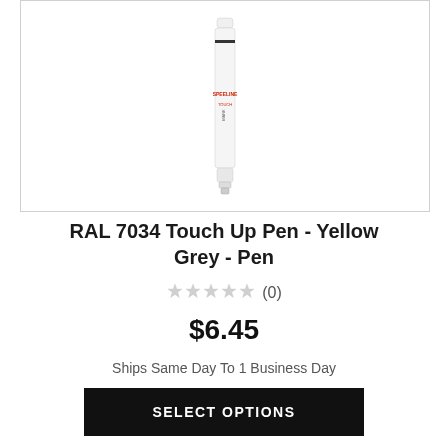[Figure (photo): A white touch-up paint pen with a red brand label on it, standing vertically against a white background, inside a bordered product image box.]
RAL 7034 Touch Up Pen - Yellow Grey - Pen
★★★★★ (0)
$6.45
Ships Same Day To 1 Business Day
SELECT OPTIONS